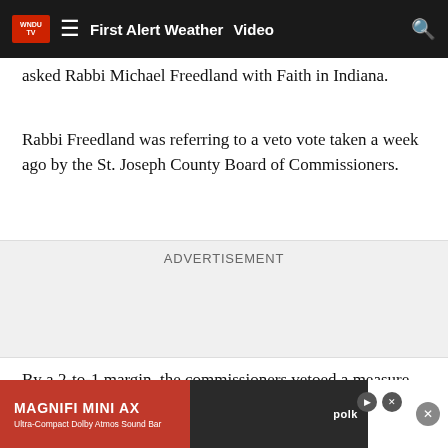First Alert Weather   Video
asked Rabbi Michael Freedland with Faith in Indiana.
Rabbi Freedland was referring to a veto vote taken a week ago by the St. Joseph County Board of Commissioners.
ADVERTISEMENT
By a 2-to-1 margin, the commissioners vetoed a measure that would have accepted a $3 million federal grant that would have funded up to eight additional community health workers.
“It’s no… St. Joe County… id